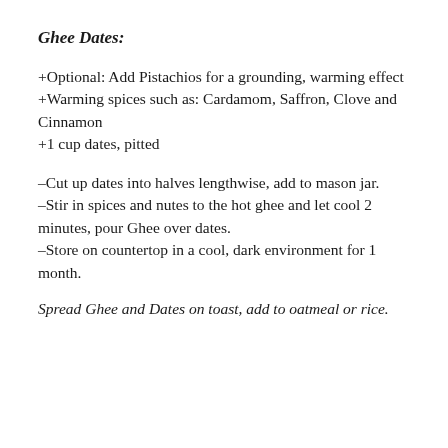Ghee Dates:
+Optional: Add Pistachios for a grounding, warming effect
+Warming spices such as: Cardamom, Saffron, Clove and Cinnamon
+1 cup dates, pitted
–Cut up dates into halves lengthwise, add to mason jar.
–Stir in spices and nutes to the hot ghee and let cool 2 minutes, pour Ghee over dates.
–Store on countertop in a cool, dark environment for 1 month.
Spread Ghee and Dates on toast, add to oatmeal or rice.